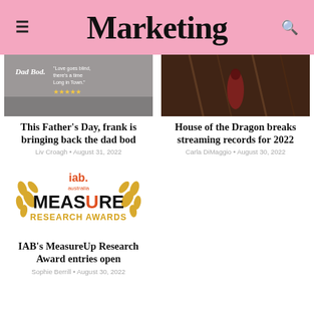Marketing
[Figure (photo): Black and white photo with text overlay: Dad, Love goes blind, there's a time, Long in Town. Five stars rating shown.]
This Father's Day, frank is bringing back the dad bod
Liv Croagh • August 31, 2022
[Figure (photo): Dark dramatic image from House of the Dragon showing a robed figure.]
House of the Dragon breaks streaming records for 2022
Carla DiMaggio • August 30, 2022
[Figure (logo): IAB Australia MeasureUp Research Awards logo with golden laurel branches and orange/dark text.]
IAB's MeasureUp Research Award entries open
Sophie Berrill • August 30, 2022